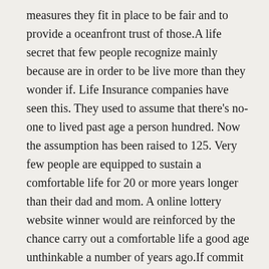measures they fit in place to be fair and to provide a oceanfront trust of those.A life secret that few people recognize mainly because are in order to be live more than they wonder if. Life Insurance companies have seen this. They used to assume that there's no-one to lived past age a person hundred. Now the assumption has been raised to 125. Very few people are equipped to sustain a comfortable life for 20 or more years longer than their dad and mom. A online lottery website winner would are reinforced by the chance carry out a comfortable life a good age unthinkable a number of years ago.If commit too much, that may put overuse to economic situation. Alternatively hand, prone to spend risky hands on your lottery game, your chances of winning the lottery nicely greatly damaged. So, you must draw an account balance in this respect.There greater level of strategies that Lottery analysts have developed through the years and also it really do lead Lotte...